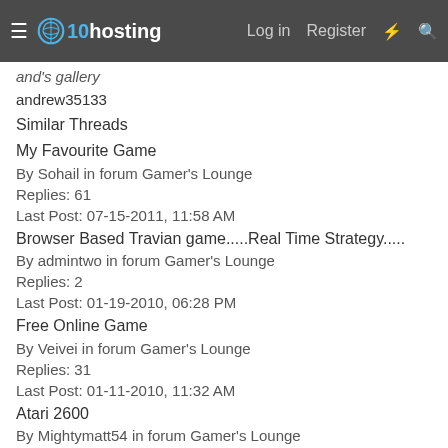x10hosting — Log in  Register
and's gallery
andrew35133
Similar Threads
My Favourite Game
By Sohail in forum Gamer's Lounge
Replies: 61
Last Post: 07-15-2011, 11:58 AM
Browser Based Travian game.....Real Time Strategy.....
By admintwo in forum Gamer's Lounge
Replies: 2
Last Post: 01-19-2010, 06:28 PM
Free Online Game
By Veivei in forum Gamer's Lounge
Replies: 31
Last Post: 01-11-2010, 11:32 AM
Atari 2600
By Mightymatt54 in forum Gamer's Lounge
Replies: 15
Last Post: 03-18-2008, 02:25 AM
Game Developers Going for Style Over Substance?